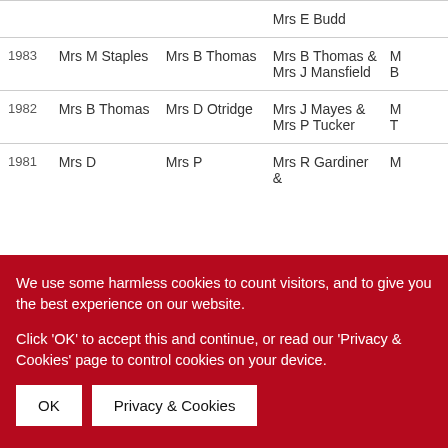| Year | Col2 | Col3 | Col4 | Col5 |
| --- | --- | --- | --- | --- |
|  |  |  | Mrs E Budd |  |
| 1983 | Mrs M Staples | Mrs B Thomas | Mrs B Thomas & Mrs J Mansfield | M B |
| 1982 | Mrs B Thomas | Mrs D Otridge | Mrs J Mayes & Mrs P Tucker | M T |
| 1981 | Mrs D | Mrs P | Mrs R Gardiner & | M |
We use some harmless cookies to count visitors, and to give you the best experience on our website.

Click 'OK' to accept this and continue, or read our 'Privacy & Cookies' page to control cookies on your device.